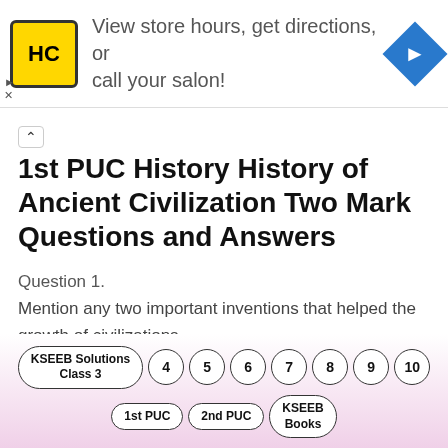[Figure (infographic): Advertisement banner: HC logo (yellow square with black HC letters), text 'View store hours, get directions, or call your salon!', blue diamond navigation icon on the right]
1st PUC History History of Ancient Civilization Two Mark Questions and Answers
Question 1.
Mention any two important inventions that helped the growth of civilizations.
Answer:
[Figure (infographic): Bottom navigation bar with pill buttons: KSEEB Solutions Class 3, and circle buttons: 4, 5, 6, 7, 8, 9, 10, then second row: 1st PUC, 2nd PUC, KSEEB Books. Pink gradient background.]